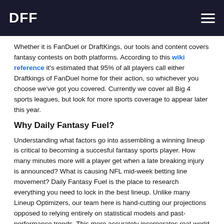DFF
Whether it is FanDuel or DraftKings, our tools and content covers fantasy contests on both platforms. According to this wiki reference it's estimated that 95% of all players call either Draftkings of FanDuel home for their action, so whichever you choose we've got you covered. Currently we cover all Big 4 sports leagues, but look for more sports coverage to appear later this year.
Why Daily Fantasy Fuel?
Understanding what factors go into assembling a winning lineup is critical to becoming a succesful fantasy sports player. How many minutes more will a player get when a late breaking injury is announced? What is causing NFL mid-week betting line movement? Daily Fantasy Fuel is the place to research everything you need to lock in the best lineup. Unlike many Lineup Optimizers, our team here is hand-cutting our projections opposed to relying entirely on statistical models and past-performance trends. This more accurately incorporates real-world changes and breaking news, opposed to just looking at what happened in the past without factoring in